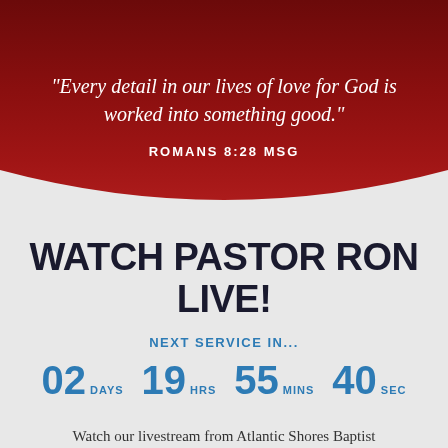“Every detail in our lives of love for God is worked into something good.”
ROMANS 8:28 MSG
WATCH PASTOR RON LIVE!
NEXT SERVICE IN...
02 DAYS  19 HRS  55 MINS  40 SEC
Watch our livestream from Atlantic Shores Baptist